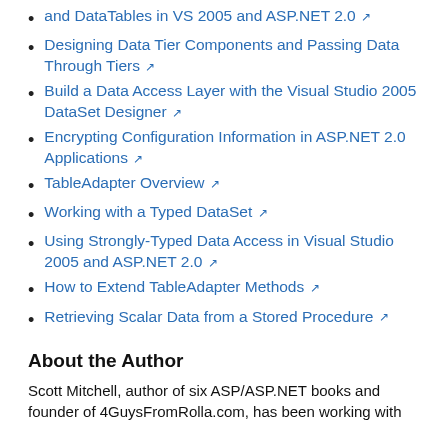and DataTables in VS 2005 and ASP.NET 2.0 ↗
Designing Data Tier Components and Passing Data Through Tiers ↗
Build a Data Access Layer with the Visual Studio 2005 DataSet Designer ↗
Encrypting Configuration Information in ASP.NET 2.0 Applications ↗
TableAdapter Overview ↗
Working with a Typed DataSet ↗
Using Strongly-Typed Data Access in Visual Studio 2005 and ASP.NET 2.0 ↗
How to Extend TableAdapter Methods ↗
Retrieving Scalar Data from a Stored Procedure ↗
About the Author
Scott Mitchell, author of six ASP/ASP.NET books and founder of 4GuysFromRolla.com, has been working with